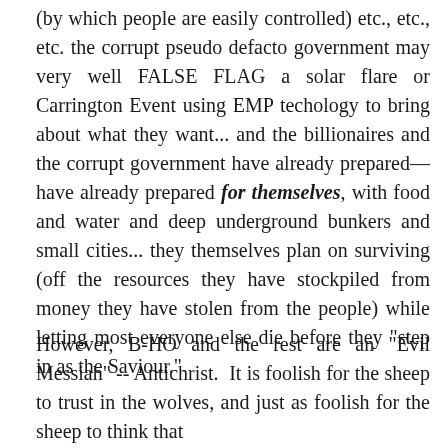(by which people are easily controlled) etc., etc., etc. the corrupt pseudo defacto government may very well FALSE FLAG a solar flare or Carrington Event using EMP techology to bring about what they want... and the billionaires and the corrupt government have already prepared— have already prepared for themselves, with food and water and deep underground bunkers and small cities... they themselves plan on surviving (off the resources they have stockpiled from money they have stolen from the people) while letting most everyone else die before they "step in as the Saviour."
However, B-HO and the rest are an "Evil Messiah" -- Antichrist.  It is foolish for the sheep to trust in the wolves, and just as foolish for the sheep to think that